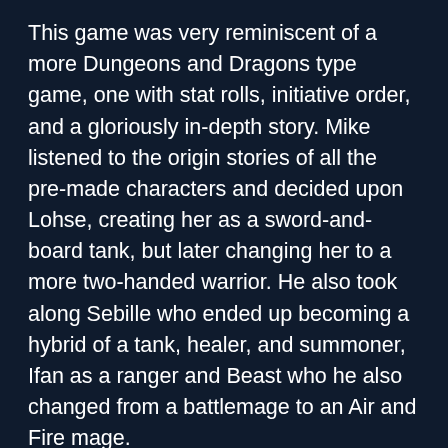This game was very reminiscent of a more Dungeons and Dragons type game, one with stat rolls, initiative order, and a gloriously in-depth story. Mike listened to the origin stories of all the pre-made characters and decided upon Lohse, creating her as a sword-and-board tank, but later changing her to a more two-handed warrior. He also took along Sebille who ended up becoming a hybrid of a tank, healer, and summoner, Ifan as a ranger and Beast who he also changed from a battlemage to an Air and Fire mage.
This ability to respec the characters completely at your choosing and with little detriment was a big draw to the game, and it worked amazingly. Mike travelled from sea to prison island, and back to sea and beyond, all the while enjoying the rich storytelling and immersive environments the